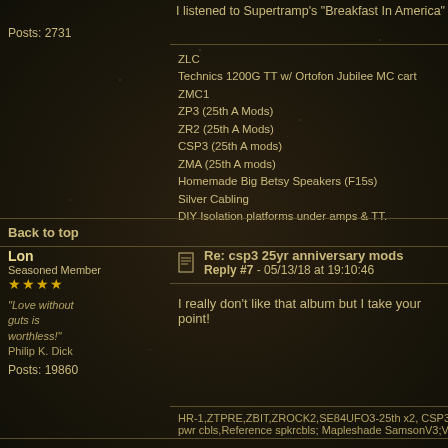I listened to Supertramp's "Breakfast In America" lp this morning
Posts: 2731
ZLC
Technics 1200G TT w/ Ortofon Jubilee MC cart
ZMC1
ZP3 (25th A Mods)
ZR2 (25th A Mods)
CSP3 (25th A mods)
ZMA (25th A mods)
Homemade Big Betsy Speakers (F15s)
Silver Cabling
DIY Isolation platforms under amps & TT.
Back to top
Lon
Seasoned Member
"Love without guts is worthless!"
Philip K. Dick
Posts: 19860
Re: csp3 25yr anniversary mods
Reply #7 - 05/13/18 at 19:10:46
I really don't like that album but I take your point!
HR-1,ZTPRE,ZBIT,ZROCK2,SE84UFO3-25th x2, CSP3-25th,Tabo pwr cbls,Reference spkrcbls; Mapleshade SamsonV3;VooDoo:Cre
Back to top
Archie
Seasoned Member
Re: csp3 25yr anniversary mods
Reply #8 - 05/13/18 at 19:50:49